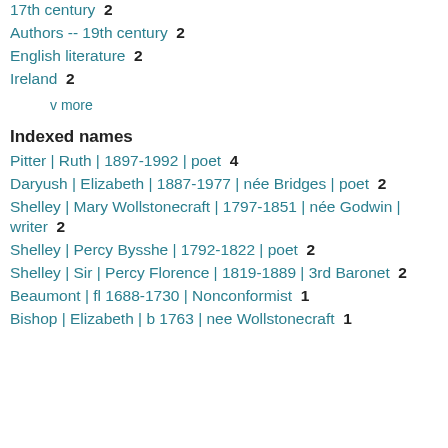17th century  2
Authors -- 19th century  2
English literature  2
Ireland  2
v more
Indexed names
Pitter | Ruth | 1897-1992 | poet  4
Daryush | Elizabeth | 1887-1977 | née Bridges | poet  2
Shelley | Mary Wollstonecraft | 1797-1851 | née Godwin | writer  2
Shelley | Percy Bysshe | 1792-1822 | poet  2
Shelley | Sir | Percy Florence | 1819-1889 | 3rd Baronet  2
Beaumont | fl 1688-1730 | Nonconformist  1
Bishop | Elizabeth | b 1763 | nee Wollstonecraft  1